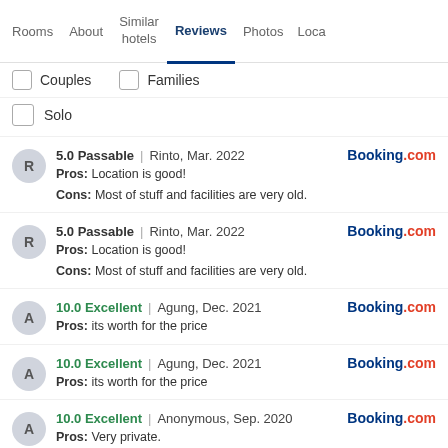Rooms | About | Similar hotels | Reviews | Photos | Loca
Couples  Families
Solo
5.0 Passable | Rinto, Mar. 2022  Booking.com
Pros: Location is good!
Cons: Most of stuff and facilities are very old.
5.0 Passable | Rinto, Mar. 2022  Booking.com
Pros: Location is good!
Cons: Most of stuff and facilities are very old.
10.0 Excellent | Agung, Dec. 2021  Booking.com
Pros: its worth for the price
10.0 Excellent | Agung, Dec. 2021  Booking.com
Pros: its worth for the price
10.0 Excellent | Anonymous, Sep. 2020  Booking.com
Pros: Very private.